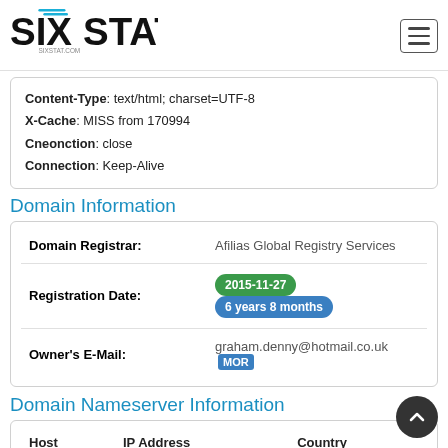SIXSTAT / sixstat.com
Content-Type: text/html; charset=UTF-8
X-Cache: MISS from 170994
Cneonction: close
Connection: Keep-Alive
Domain Information
|  |  |
| --- | --- |
| Domain Registrar: | Afilias Global Registry Services |
| Registration Date: | 2015-11-27  6 years 8 months |
| Owner's E-Mail: | graham.denny@hotmail.co.uk MORE |
Domain Nameserver Information
| Host | IP Address | Country |
| --- | --- | --- |